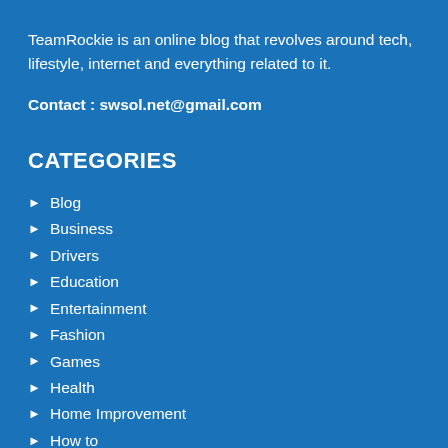TeamRockie is an online blog that revolves around tech, lifestyle, internet and everything related to it.
Contact : swsol.net@gmail.com
CATEGORIES
Blog
Business
Drivers
Education
Entertainment
Fashion
Games
Health
Home Improvement
How to
Law
Pets